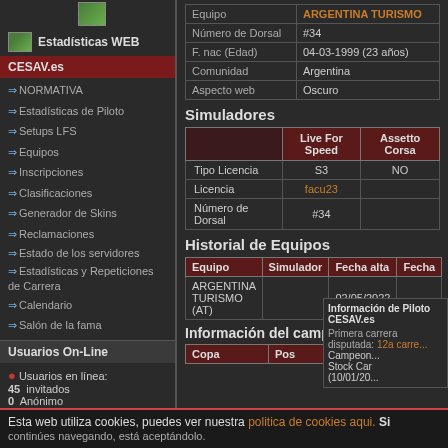[Figure (screenshot): Small icon/logo image at top of sidebar]
Estadísticas WEB
CESAV.es
NORMATIVA
Estadísticas de Piloto
Setups LFS
Equipos
Inscripciones
Clasificaciones
Generador de Skins
Reclamaciones
Estado de los servidores
Estadísticas y Repeticiones de Carrera
Calendario
Salón de la fama
Usuarios On-Line
Usuarios en línea:
45  invitados
0  Anónimo
1  Visible:
johneysvk
Último Clik
| Equipo |  |
| --- | --- |
| Equipo | ARGENTINA TURISMO |
| Número de Dorsal | #34 |
| F. nac (Edad) | 04-03-1999 (23 años) |
| Comunidad | Argentina |
| Aspecto web | Oscuro |
Simuladores
|  | Live For Speed | Assetto Corsa |
| --- | --- | --- |
| Tipo Licencia | S3 | NO |
| Licencia | facu23 |  |
| Número de Dorsal | #34 |  |
Historial de Equipos
| Equipo | Simulador | Fecha alta | Fecha... |
| --- | --- | --- | --- |
| ARGENTINA TURISMO (AT) |  | 02/05/2022 |  |
Información del campeonato:
| Copa | Pos | Puntos |
| --- | --- | --- |
Información de Piloto CESAV.es
Primera carrera disputada: 12a carrera Campeonato Stock Car (10/01/20...)
Esta web utiliza cookies, puedes ver nuestra politica de cookies aqui. Si continúes navegando, está aceptándolo.